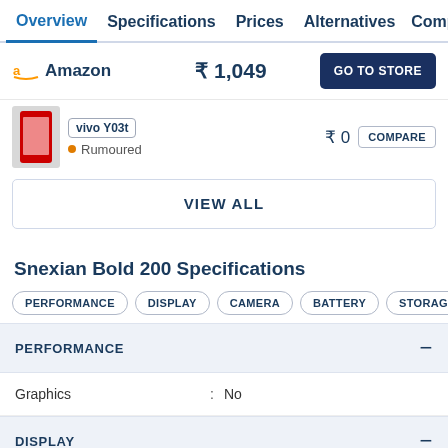Overview  Specifications  Prices  Alternatives  Compar
Amazon  ₹ 1,049  GO TO STORE
Rumoured  ₹0  COMPARE
VIEW ALL
Snexian Bold 200 Specifications
PERFORMANCE  DISPLAY  CAMERA  BATTERY  STORAGE  SO
PERFORMANCE
Graphics : No
DISPLAY